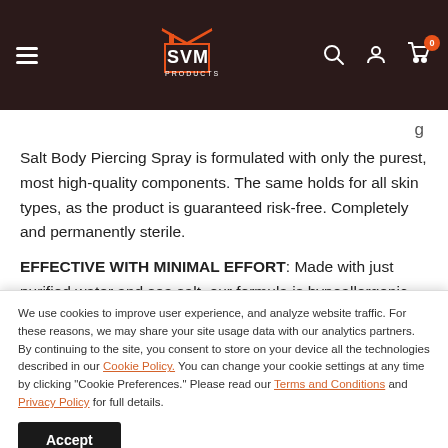[Figure (screenshot): SVM Products website header with dark brown/black background, hamburger menu icon on left, SVM Products logo (red house icon with white SVM PRODUCTS text), search icon, user/account icon, and cart icon with orange badge showing 0, on far right.]
Salt Body Piercing Spray is formulated with only the purest, most high-quality components. The same holds for all skin types, as the product is guaranteed risk-free. Completely and permanently sterile.
EFFECTIVE WITH MINIMAL EFFORT: Made with just purified water and sea salt, our formula is hypoallergenic and perfect for cleansing new piercings and preventing infection or other
We use cookies to improve user experience, and analyze website traffic. For these reasons, we may share your site usage data with our analytics partners. By continuing to the site, you consent to store on your device all the technologies described in our Cookie Policy. You can change your cookie settings at any time by clicking "Cookie Preferences." Please read our Terms and Conditions and Privacy Policy for full details.
Accept
Body Piercing Spray Features: